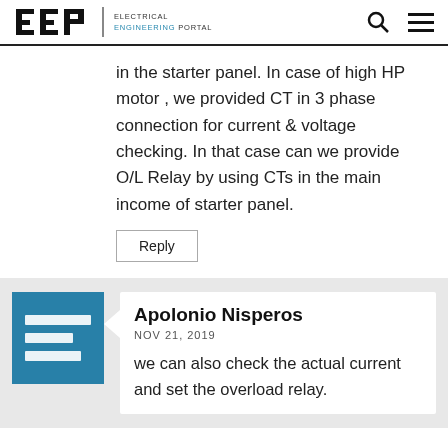EEP | ELECTRICAL ENGINEERING PORTAL
in the starter panel. In case of high HP motor , we provided CT in 3 phase connection for current & voltage checking. In that case can we provide O/L Relay by using CTs in the main income of starter panel.
Reply
Apolonio Nisperos
NOV 21, 2019
we can also check the actual current and set the overload relay.